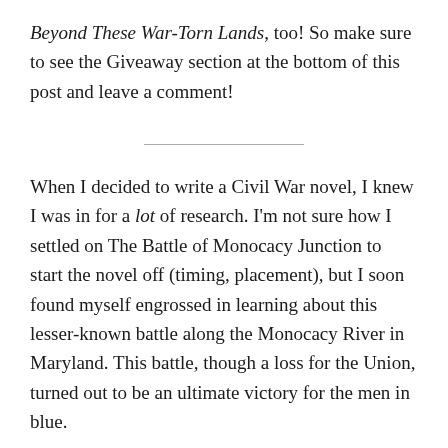Beyond These War-Torn Lands, too! So make sure to see the Giveaway section at the bottom of this post and leave a comment!
When I decided to write a Civil War novel, I knew I was in for a lot of research. I'm not sure how I settled on The Battle of Monocacy Junction to start the novel off (timing, placement), but I soon found myself engrossed in learning about this lesser-known battle along the Monocacy River in Maryland. This battle, though a loss for the Union, turned out to be an ultimate victory for the men in blue.